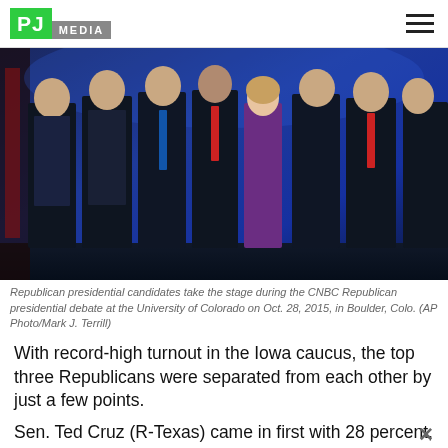PJ MEDIA
[Figure (photo): Republican presidential candidates standing on stage during the CNBC Republican presidential debate at the University of Colorado, Oct. 28, 2015, in Boulder, Colo. Group of men in dark suits with one woman in a purple dress.]
Republican presidential candidates take the stage during the CNBC Republican presidential debate at the University of Colorado on Oct. 28, 2015, in Boulder, Colo. (AP Photo/Mark J. Terrill)
With record-high turnout in the Iowa caucus, the top three Republicans were separated from each other by just a few points.
Sen. Ted Cruz (R-Texas) came in first with 28 percent,